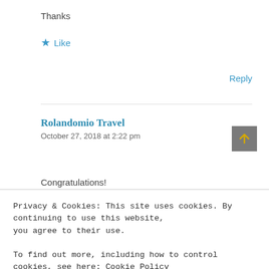Thanks
★ Like
Reply
Rolandomio Travel
October 27, 2018 at 2:22 pm
Congratulations!
Privacy & Cookies: This site uses cookies. By continuing to use this website, you agree to their use.
To find out more, including how to control cookies, see here: Cookie Policy
Close and accept
libaran